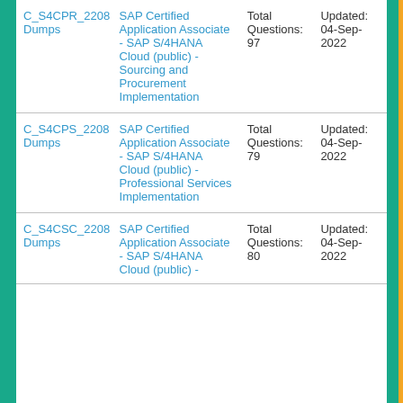| C_S4CPR_2208 Dumps | SAP Certified Application Associate - SAP S/4HANA Cloud (public) - Sourcing and Procurement Implementation | Total Questions: 97 | Updated: 04-Sep-2022 |
| C_S4CPS_2208 Dumps | SAP Certified Application Associate - SAP S/4HANA Cloud (public) - Professional Services Implementation | Total Questions: 79 | Updated: 04-Sep-2022 |
| C_S4CSC_2208 Dumps | SAP Certified Application Associate - SAP S/4HANA Cloud (public) - | Total Questions: 80 | Updated: 04-Sep-2022 |